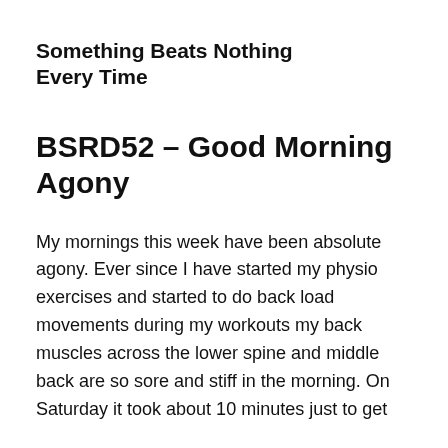Something Beats Nothing Every Time
BSRD52 – Good Morning Agony
My mornings this week have been absolute agony. Ever since I have started my physio exercises and started to do back load movements during my workouts my back muscles across the lower spine and middle back are so sore and stiff in the morning. On Saturday it took about 10 minutes just to get